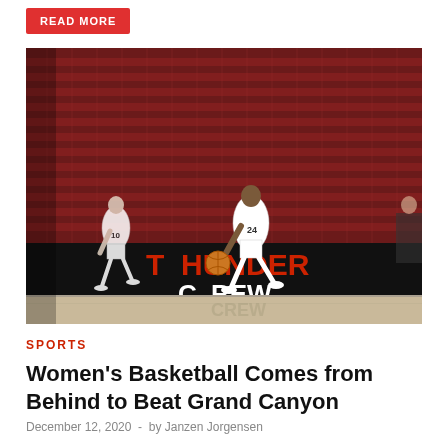READ MORE
[Figure (photo): Women's basketball players in white uniforms (number 24 dribbling, number 10 behind) running on an indoor court with red stadium seats in the background and a 'THUNDER CREW' banner on the court boundary]
SPORTS
Women’s Basketball Comes from Behind to Beat Grand Canyon
December 12, 2020  -  by Janzen Jorgensen
Despite trailing by some points with little more than...